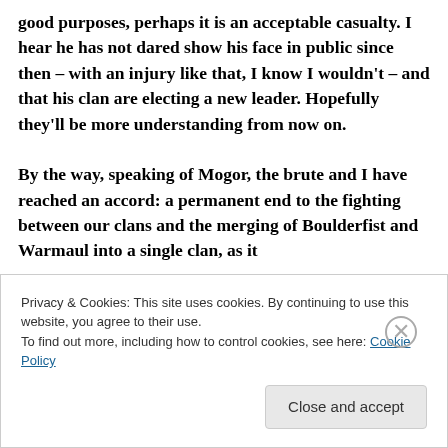good purposes, perhaps it is an acceptable casualty. I hear he has not dared show his face in public since then – with an injury like that, I know I wouldn't – and that his clan are electing a new leader. Hopefully they'll be more understanding from now on.

By the way, speaking of Mogor, the brute and I have reached an accord: a permanent end to the fighting between our clans and the merging of Boulderfist and Warmaul into a single clan, as it
Privacy & Cookies: This site uses cookies. By continuing to use this website, you agree to their use.
To find out more, including how to control cookies, see here: Cookie Policy
Close and accept